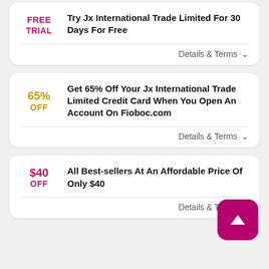FREE TRIAL — Try Jx International Trade Limited For 30 Days For Free
Details & Terms
65% OFF — Get 65% Off Your Jx International Trade Limited Credit Card When You Open An Account On Fioboc.com
Details & Terms
$40 OFF — All Best-sellers At An Affordable Price Of Only $40
Details & Terms